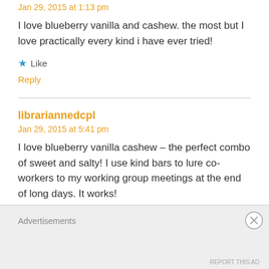Jan 29, 2015 at 1:13 pm
I love blueberry vanilla and cashew. the most but I love practically every kind i have ever tried!
★ Like
Reply
librariannedcpl
Jan 29, 2015 at 5:41 pm
I love blueberry vanilla cashew – the perfect combo of sweet and salty! I use kind bars to lure co-workers to my working group meetings at the end of long days. It works!
★ Like
Reply
Advertisements
REPORT THIS AD